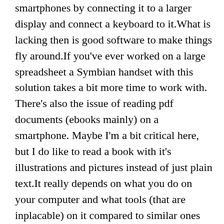smartphones by connecting it to a larger display and connect a keyboard to it.What is lacking then is good software to make things fly around.If you've ever worked on a large spreadsheet a Symbian handset with this solution takes a bit more time to work with. There's also the issue of reading pdf documents (ebooks mainly) on a smartphone. Maybe I'm a bit critical here, but I do like to read a book with it's illustrations and pictures instead of just plain text.It really depends on what you do on your computer and what tools (that are inplacable) on it compared to similar ones on your smartphone.I think I can pretty much say that I can do about 60% of what I usually do on my computer whereas the remaining 40% I have to have a computer to do.There is also the issue of some strange websites that the built in browser in smartphones can't handle too well. But that is another